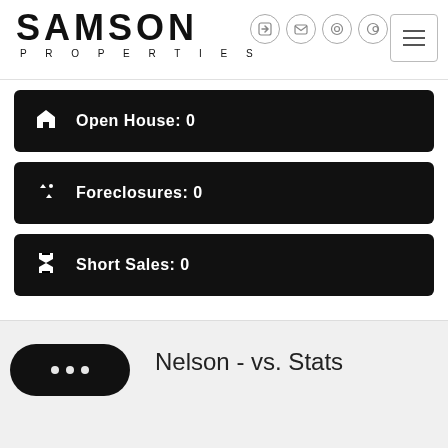SAMSON PROPERTIES
Open House: 0
Foreclosures: 0
Short Sales: 0
Nelson - vs. Stats